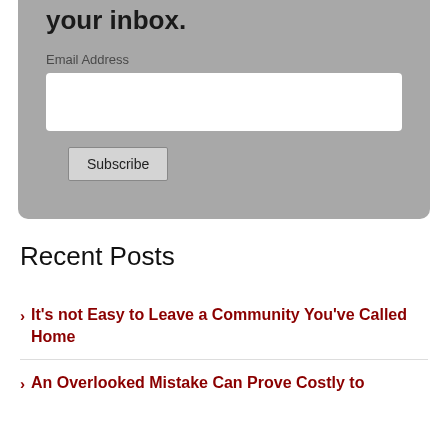It's delivered each week to your inbox.
Email Address
[Figure (other): Email address input field (white rectangle)]
Subscribe
Recent Posts
It's not Easy to Leave a Community You've Called Home
An Overlooked Mistake Can Prove Costly to...